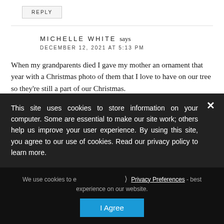REPLY
MICHELLE WHITE says
DECEMBER 12, 2021 AT 5:13 PM
When my grandparents died I gave my mother an ornament that year with a Christmas photo of them that I love to have on our tree so they're still a part of our Christmas.
REPLY
This site uses cookies to store information on your computer. Some are essential to make our site work; others help us improve your user experience. By using this site, you agree to our use of cookies. Read our privacy policy to learn more.
We use cookies to ensure you get the best experience on our website.
Privacy Preferences
I Agree